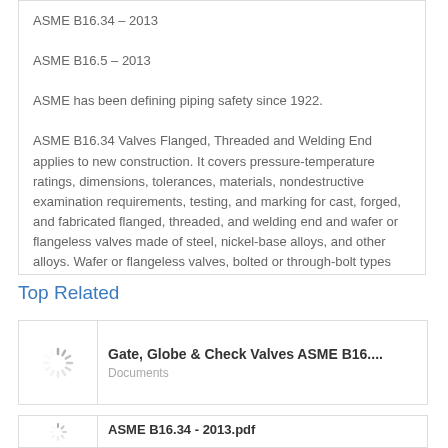ASME B16.34 – 2013
ASME B16.5 – 2013
ASME has been defining piping safety since 1922.
ASME B16.34 Valves Flanged, Threaded and Welding End applies to new construction. It covers pressure-temperature ratings, dimensions, tolerances, materials, nondestructive examination requirements, testing, and marking for cast, forged, and fabricated flanged, threaded, and welding end and wafer or flangeless valves made of steel, nickel-base alloys, and other alloys. Wafer or flangeless valves, bolted or through-bolt types that are installed between flanges or against a
Top Related
Gate, Globe & Check Valves ASME B16....
Documents
ASME B16.34 - 2013.pdf